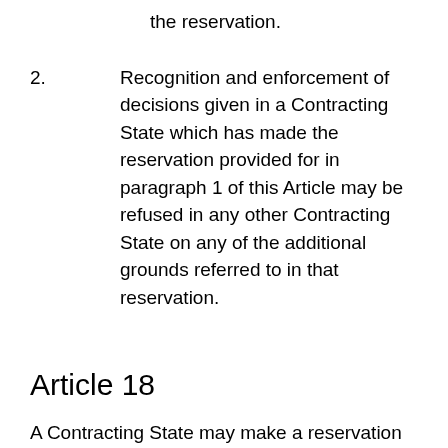the reservation.
2.	Recognition and enforcement of decisions given in a Contracting State which has made the reservation provided for in paragraph 1 of this Article may be refused in any other Contracting State on any of the additional grounds referred to in that reservation.
Article 18
A Contracting State may make a reservation that it shall not be bound by the provisions of Article 12. The provisions of this Convention shall not apply to